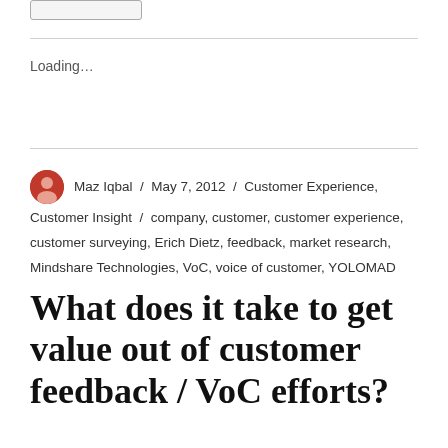[Figure (other): Small button stub at top left]
Loading...
Maz Iqbal / May 7, 2012 / Customer Experience, Customer Insight / company, customer, customer experience, customer surveying, Erich Dietz, feedback, market research, Mindshare Technologies, VoC, voice of customer, YOLOMAD
What does it take to get value out of customer feedback / VoC efforts?